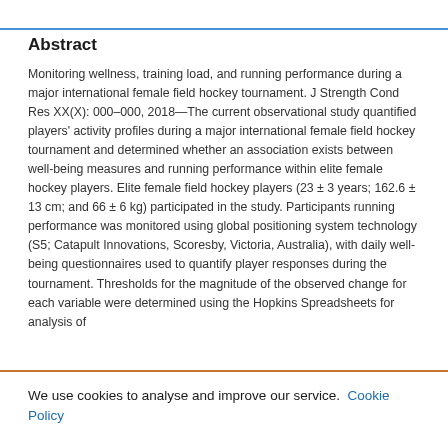Abstract
Monitoring wellness, training load, and running performance during a major international female field hockey tournament. J Strength Cond Res XX(X): 000–000, 2018—The current observational study quantified players' activity profiles during a major international female field hockey tournament and determined whether an association exists between well-being measures and running performance within elite female hockey players. Elite female field hockey players (23 ± 3 years; 162.6 ± 13 cm; and 66 ± 6 kg) participated in the study. Participants running performance was monitored using global positioning system technology (S5; Catapult Innovations, Scoresby, Victoria, Australia), with daily well-being questionnaires used to quantify player responses during the tournament. Thresholds for the magnitude of the observed change for each variable were determined using the Hopkins Spreadsheets for analysis of
We use cookies to analyse and improve our service. Cookie Policy